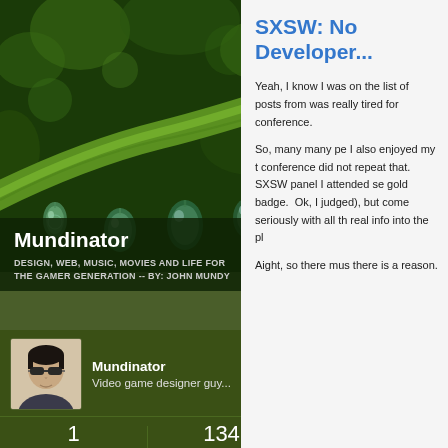[Figure (photo): Close-up photograph of a green plant stem/leaf with water droplets hanging from it, on a dark green background]
Mundinator
DESIGN, WEB, MUSIC, MOVIES AND LIFE FOR THE GAMER GENERATION -- BY: JOHN MUNDY
[Figure (photo): Profile photo of a man wearing sunglasses]
Mundinator
Video game designer guy...
1
FOLLOWING
134
FOLLOWERS
SXSW: No Developer...
Yeah, I know I was on the list of posts from was really tired for conference.

So, many many pe I also enjoyed my t conference did not repeat that.  SXSW panel I attended se gold badge.  Ok, I judged), but come seriously with all th real info into the pl

Aight, so there mus there is a reason.